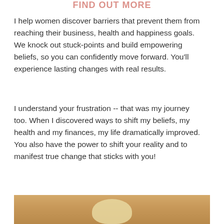FIND OUT MORE
I help women discover barriers that prevent them from reaching their business, health and happiness goals. We knock out stuck-points and build empowering beliefs, so you can confidently move forward. You'll experience lasting changes with real results.
I understand your frustration -- that was my journey too. When I discovered ways to shift my beliefs, my health and my finances, my life dramatically improved. You also have the power to shift your reality and to manifest true change that sticks with you!
[Figure (photo): Partial photo of a person with blonde/light hair, cropped at top of page, warm tan background]